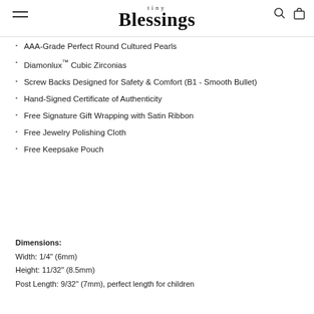tiny Blessings
AAA-Grade Perfect Round Cultured Pearls
Diamonlux™ Cubic Zirconias
Screw Backs Designed for Safety & Comfort (B1 - Smooth Bullet)
Hand-Signed Certificate of Authenticity
Free Signature Gift Wrapping with Satin Ribbon
Free Jewelry Polishing Cloth
Free Keepsake Pouch
Dimensions:
Width: 1/4" (6mm)
Height: 11/32" (8.5mm)
Post Length: 9/32" (7mm), perfect length for children